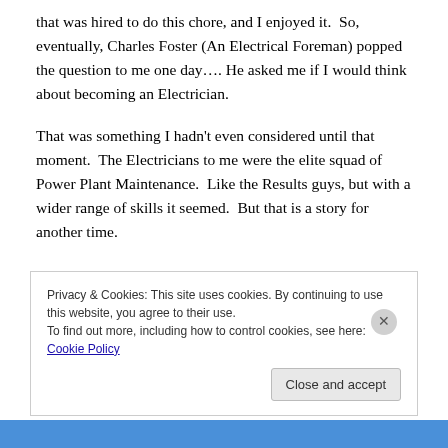that was hired to do this chore, and I enjoyed it.  So, eventually, Charles Foster (An Electrical Foreman) popped the question to me one day…. He asked me if I would think about becoming an Electrician.
That was something I hadn't even considered until that moment.  The Electricians to me were the elite squad of Power Plant Maintenance.  Like the Results guys, but with a wider range of skills it seemed.  But that is a story for another time.
Privacy & Cookies: This site uses cookies. By continuing to use this website, you agree to their use.
To find out more, including how to control cookies, see here: Cookie Policy